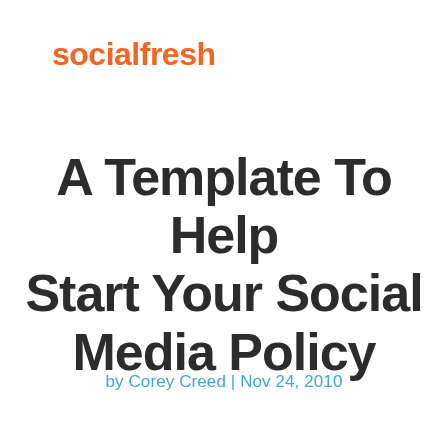[Figure (logo): socialfresh logo in orange text]
A Template To Help Start Your Social Media Policy
by Corey Creed | Nov 24, 2010